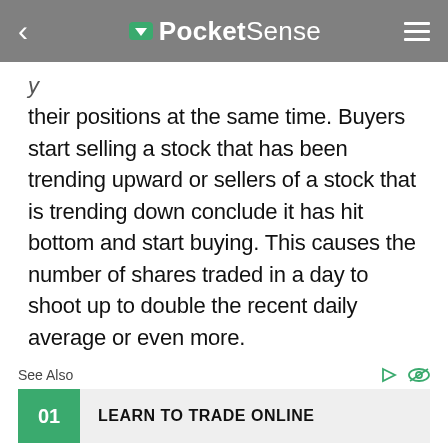PocketSense
their positions at the same time. Buyers start selling a stock that has been trending upward or sellers of a stock that is trending down conclude it has hit bottom and start buying. This causes the number of shares traded in a day to shoot up to double the recent daily average or even more.
See Also
01 LEARN TO TRADE ONLINE
02 TRADE STOCK MARKET
03